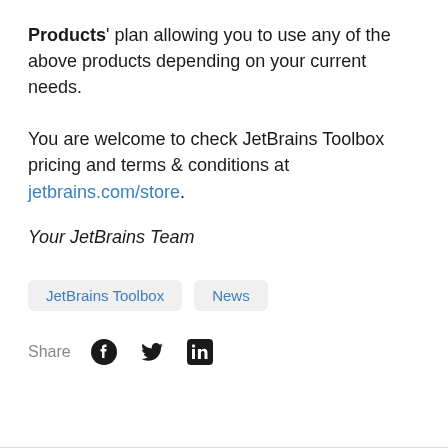Products' plan allowing you to use any of the above products depending on your current needs.

You are welcome to check JetBrains Toolbox pricing and terms & conditions at jetbrains.com/store.
Your JetBrains Team
JetBrains Toolbox
News
Share